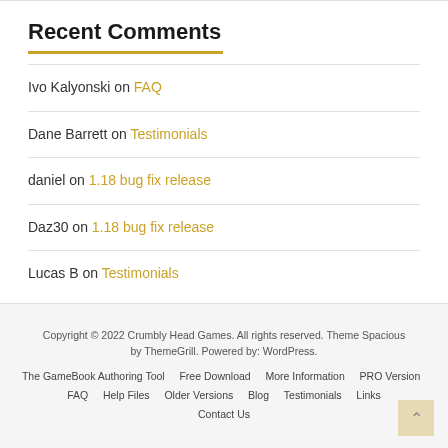Recent Comments
Ivo Kalyonski on FAQ
Dane Barrett on Testimonials
daniel on 1.18 bug fix release
Daz30 on 1.18 bug fix release
Lucas B on Testimonials
Copyright © 2022 Crumbly Head Games. All rights reserved. Theme Spacious by ThemeGrill. Powered by: WordPress.
The GameBook Authoring Tool  Free Download  More Information  PRO Version  FAQ  Help Files  Older Versions  Blog  Testimonials  Links  Contact Us